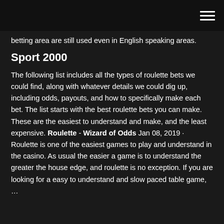☰
betting area are still used even in English speaking areas.
Sport 2000
The following list includes all the types of roulette bets we could find, along with whatever details we could dig up, including odds, payouts, and how to specifically make each bet. The list starts with the best roulette bets you can make. These are the easiest to understand and make, and the least expensive. Roulette - Wizard of Odds Jan 08, 2019 · Roulette is one of the easiest games to play and understand in the casino. As usual the easier a game is to understand the greater the house edge, and roulette is no exception. If you are looking for a easy to understand and slow paced table game, …